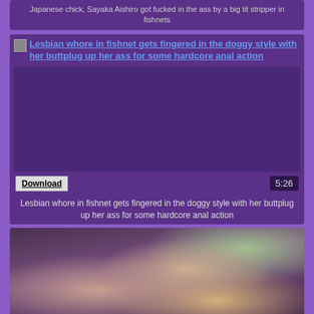Japanese chick, Sayaka Aishiro got fucked in the ass by a big tit stripper in fishnets
[Figure (screenshot): Video thumbnail card with link text: Lesbian whore in fishnet gets fingered in the doggy style with her buttplug up her ass for some hardcore anal action. Contains Download button and 5:26 duration badge.]
Lesbian whore in fishnet gets fingered in the doggy style with her buttplug up her ass for some hardcore anal action
[Figure (photo): Photo of a woman in fishnet clothing in an explicit scene]